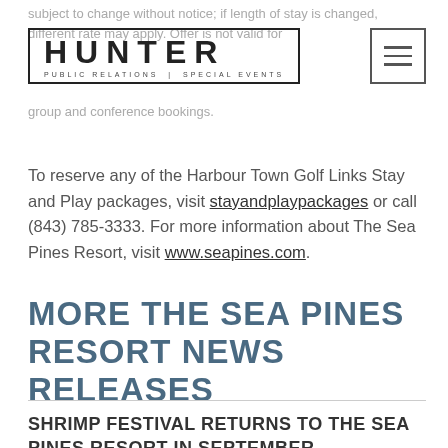subject to change without notice; if length of stay is changed, different rate may apply. Offer is not valid for group and conference bookings.
[Figure (logo): Hunter Public Relations | Special Events logo in a rectangular border]
To reserve any of the Harbour Town Golf Links Stay and Play packages, visit stayandplaypackages or call (843) 785-3333. For more information about The Sea Pines Resort, visit www.seapines.com.
MORE THE SEA PINES RESORT NEWS RELEASES
SHRIMP FESTIVAL RETURNS TO THE SEA PINES RESORT IN SEPTEMBER